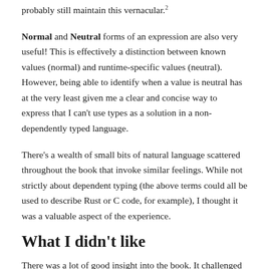probably still maintain this vernacular.²
Normal and Neutral forms of an expression are also very useful! This is effectively a distinction between known values (normal) and runtime-specific values (neutral). However, being able to identify when a value is neutral has at the very least given me a clear and concise way to express that I can’t use types as a solution in a non-dependently typed language.
There’s a wealth of small bits of natural language scattered throughout the book that invoke similar feelings. While not strictly about dependent typing (the above terms could all be used to describe Rust or C code, for example), I thought it was a valuable aspect of the experience.
What I didn’t like
There was a lot of good insight into the book. It challenged me a